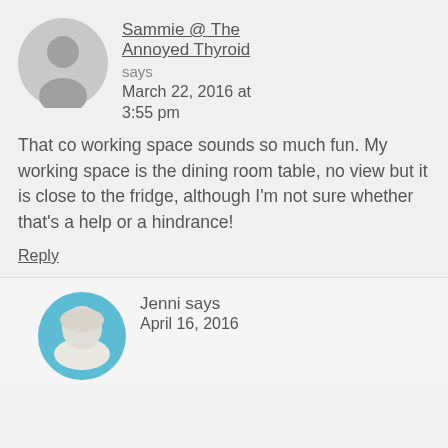Sammie @ The Annoyed Thyroid says March 22, 2016 at 3:55 pm
That co working space sounds so much fun. My working space is the dining room table, no view but it is close to the fridge, although I'm not sure whether that's a help or a hindrance!
Reply
Jenni says April 16, 2016